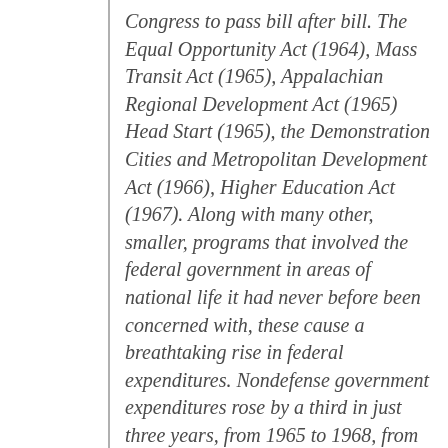Congress to pass bill after bill. The Equal Opportunity Act (1964), Mass Transit Act (1965), Appalachian Regional Development Act (1965) Head Start (1965), the Demonstration Cities and Metropolitan Development Act (1966), Higher Education Act (1967). Along with many other, smaller, programs that involved the federal government in areas of national life it had never before been concerned with, these cause a breathtaking rise in federal expenditures. Nondefense government expenditures rose by a third in just three years, from 1965 to 1968, from $75 billion to $100 billion.